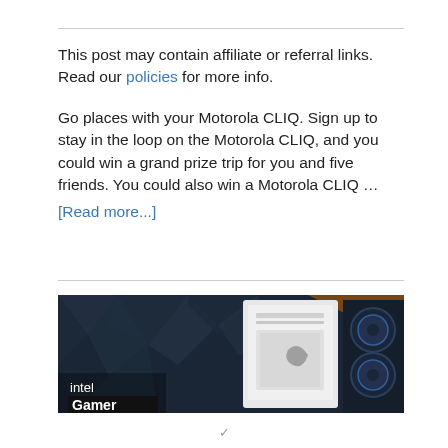This post may contain affiliate or referral links. Read our policies for more info.

Go places with your Motorola CLIQ. Sign up to stay in the loop on the Motorola CLIQ, and you could win a grand prize trip for you and five friends. You could also win a Motorola CLIQ … [Read more...]
[Figure (photo): Intel Gamer promotional banner image showing a white gaming PC tower with blue-lit fans against a dark geometric background. Text overlay reads 'intel Gamer' in white on dark background.]